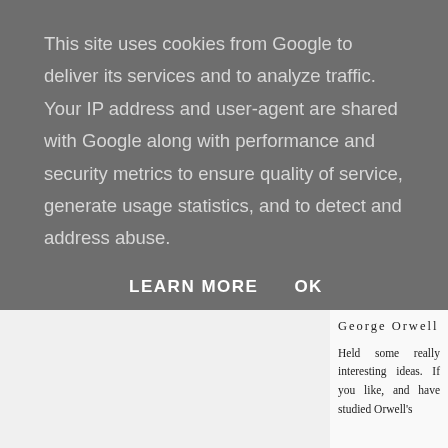This site uses cookies from Google to deliver its services and to analyze traffic. Your IP address and user-agent are shared with Google along with performance and security metrics to ensure quality of service, generate usage statistics, and to detect and address abuse.
LEARN MORE   OK
[Figure (illustration): Book cover thumbnail for George Orwell's 'Notes on Nationalism' on a mint green background, showing bold black text for the author name and title separated by a horizontal line.]
George Orwell
Held some really interesting ideas. If you like, and have studied Orwell's